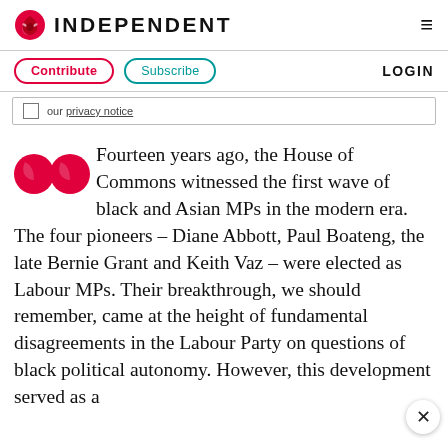INDEPENDENT
Contribute  Subscribe  LOGIN
our privacy notice
Fourteen years ago, the House of Commons witnessed the first wave of black and Asian MPs in the modern era. The four pioneers – Diane Abbott, Paul Boateng, the late Bernie Grant and Keith Vaz – were elected as Labour MPs. Their breakthrough, we should remember, came at the height of fundamental disagreements in the Labour Party on questions of black political autonomy. However, this development served as a